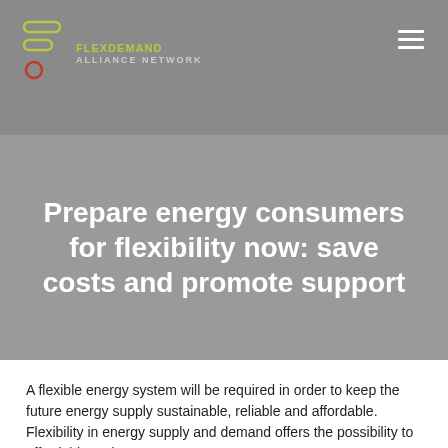[Figure (logo): FlexDemand Alliance Network logo with icon and text]
Prepare energy consumers for flexibility now: save costs and promote support
A flexible energy system will be required in order to keep the future energy supply sustainable, reliable and affordable. Flexibility in energy supply and demand offers the possibility to affordably and